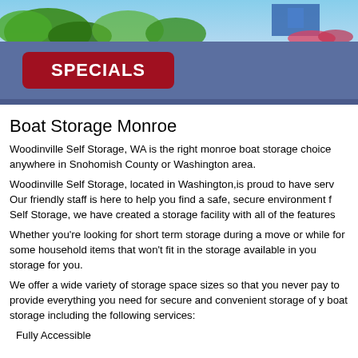[Figure (photo): Outdoor scene with green foliage and blue sky, partial view of storage facility]
SPECIALS
Boat Storage Monroe
Woodinville Self Storage, WA is the right monroe boat storage choice anywhere in Snohomish County or Washington area.
Woodinville Self Storage, located in Washington,is proud to have served Our friendly staff is here to help you find a safe, secure environment for Self Storage, we have created a storage facility with all of the features
Whether you're looking for short term storage during a move or while for some household items that won't fit in the storage available in you storage for you.
We offer a wide variety of storage space sizes so that you never pay to provide everything you need for secure and convenient storage of y boat storage including the following services:
Fully Accessible